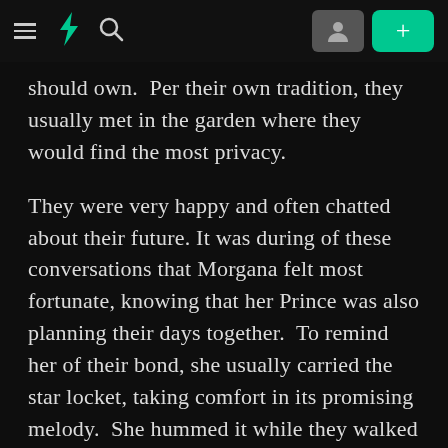DeviantArt navigation bar with hamburger menu, logo, search icon, user icon, and plus button
should own.  Per their own tradition, they usually met in the garden where they would find the most privacy.
They were very happy and often chatted about their future. It was during of these conversations that Morgana felt most fortunate, knowing that her Prince was also planning their days together.  To remind her of their bond, she usually carried the star locket, taking comfort in its promising melody.  She hummed it while they walked together.